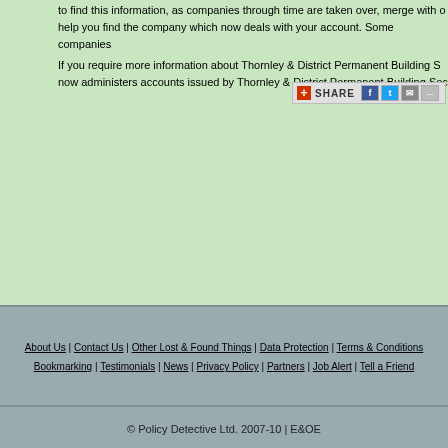to find this information, as companies through time are taken over, merge with o... help you find the company which now deals with your account. Some companies...
If you require more information about Thornley & District Permanent Building S... now administers accounts issued by Thornley & District Permanent Building Soc...
[Figure (other): Share bar with red plus icon, SHARE label, and social media icons for Facebook, Twitter, Email, and more]
About Us | Contact Us | Other Lost & Found Things | Data Protection | Terms & Conditions | Bookmarking | Testimonials | News | Privacy Policy | Partners | Job Alert | Tell a Friend
© Policy Detective Ltd. 2007-10 | E&OE